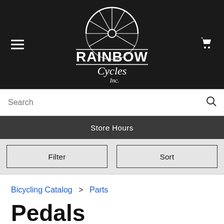[Figure (logo): Rainbow Cycles Inc. logo — white bicycle wheel above bold white text RAINBOW with cursive Cycles Inc. below, all on black background. Menu (hamburger) icon on left, shopping cart icon on right.]
Search
Store Hours
Filter
Sort
Bicycling Catalog > Parts
Pedals